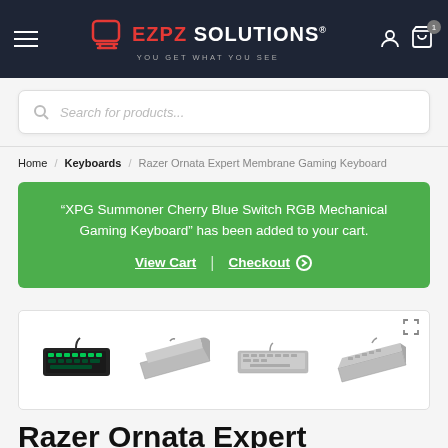ezpz solutions — you get what you see
Search for products...
Home / Keyboards / Razer Ornata Expert Membrane Gaming Keyboard
"XPG Summoner Cherry Blue Switch RGB Mechanical Gaming Keyboard" has been added to your cart. View Cart | Checkout
[Figure (photo): Four product thumbnail images of the Razer Ornata Expert keyboard shown in a horizontal row]
Razer Ornata Expert